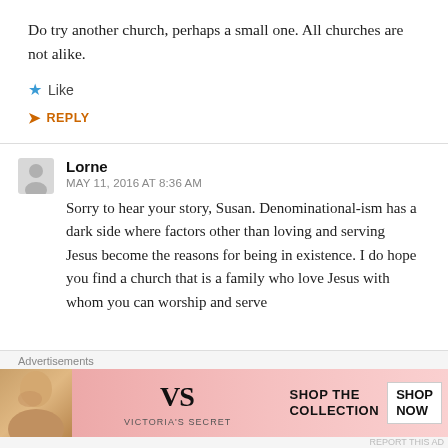Do try another church, perhaps a small one. All churches are not alike.
Like
REPLY
Lorne
MAY 11, 2016 AT 8:36 AM
Sorry to hear your story, Susan. Denominational-ism has a dark side where factors other than loving and serving Jesus become the reasons for being in existence. I do hope you find a church that is a family who love Jesus with whom you can worship and serve
Advertisements
[Figure (other): Victoria's Secret advertisement banner with a model, VS logo, text 'SHOP THE COLLECTION', and 'SHOP NOW' button]